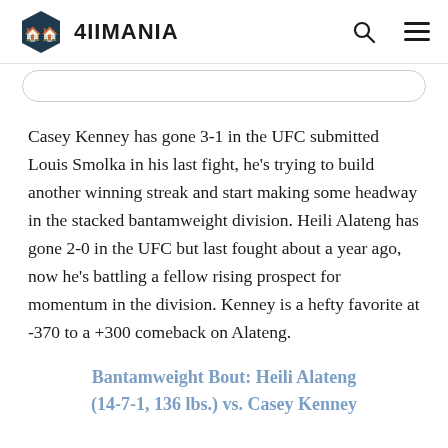4IIMANIA
Casey Kenney has gone 3-1 in the UFC submitted Louis Smolka in his last fight, he's trying to build another winning streak and start making some headway in the stacked bantamweight division. Heili Alateng has gone 2-0 in the UFC but last fought about a year ago, now he's battling a fellow rising prospect for momentum in the division. Kenney is a hefty favorite at -370 to a +300 comeback on Alateng.
Bantamweight Bout: Heili Alateng (14-7-1, 136 lbs.) vs. Casey Kenney